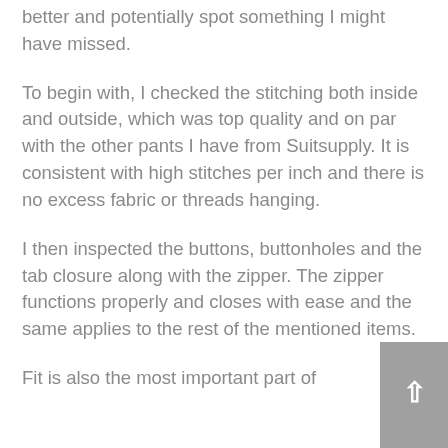better and potentially spot something I might have missed.
To begin with, I checked the stitching both inside and outside, which was top quality and on par with the other pants I have from Suitsupply. It is consistent with high stitches per inch and there is no excess fabric or threads hanging.
I then inspected the buttons, buttonholes and the tab closure along with the zipper. The zipper functions properly and closes with ease and the same applies to the rest of the mentioned items.
Fit is also the most important part of